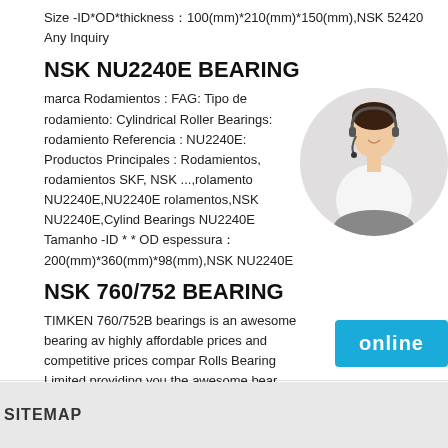Size -ID*OD*thickness：100(mm)*210(mm)*150(mm),NSK 52420 Any Inquiry
NSK NU2240E BEARING
marca Rodamientos : FAG: Tipo de rodamiento: Cylindrical Roller Bearings: rodamiento Referencia : NU2240E: Productos Principales : Rodamientos, rodamientos SKF, NSK ...,rolamento NU2240E,NU2240E rolamentos,NSK NU2240E,Cylind Bearings NU2240E Tamanho -ID * * OD espessura：200(mm)*360(mm)*98(mm),NSK NU2240E
[Figure (photo): Customer service representative woman with headset, smiling, in white blazer, circular cropped photo]
NSK 760/752 BEARING
TIMKEN 760/752B bearings is an awesome bearing av highly affordable prices and competitive prices compar Rolls Bearing Limited providing you the awesome bear affordable prices and competitive prices compared to m TIMKEN 760/752B bearings with quick delivery immedi excellent service. Buy TIMKEN 760/752B bearings from acesbearing will be your best choice.
[Figure (other): Online button - cyan/blue rectangle with white bold text 'online']
SITEMAP